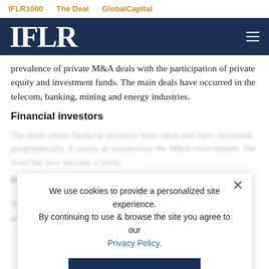IFLR1000   The Deal   GlobalCapital
[Figure (logo): IFLR logo in white text on dark navy background with hamburger menu icon]
prevalence of private M&A deals with the participation of private equity and investment funds. The main deals have occurred in the telecom, banking, mining and energy industries.
Financial investors
The deals where financial investors have taken part have increased geographically. It assists in transactions the M&A environment. The trend has now become a norm.
Recent transactions
There have been several cases of M&A transactions that directly affected consumers. In the case of the new...
We use cookies to provide a personalized site experience. By continuing to use & browse the site you agree to our Privacy Policy.